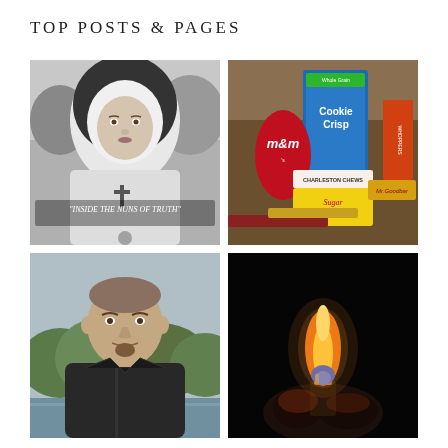TOP POSTS & PAGES
[Figure (photo): Black and white photo of a nun with text '"INSIDE THE NUNS OF TRUTH"' overlaid]
[Figure (photo): Color photo of various candies and snacks including M&Ms, Cookie Crisp cereal, Sugar Babies, Charleston Chews, and other candy boxes]
[Figure (photo): Color selfie photo of a middle-aged bald man outdoors near water with trees in background]
[Figure (photo): Dark photo of a flame being held in hands against a black background]